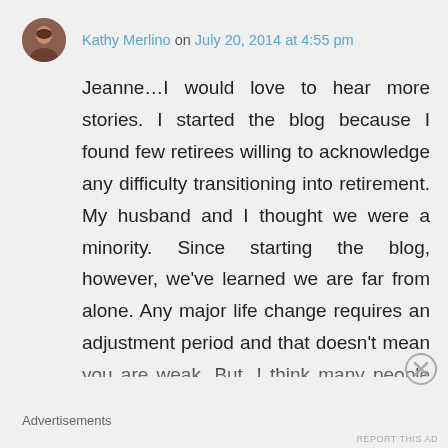Kathy Merlino on July 20, 2014 at 4:55 pm
Jeanne…I would love to hear more stories. I started the blog because I found few retirees willing to acknowledge any difficulty transitioning into retirement. My husband and I thought we were a minority. Since starting the blog, however, we've learned we are far from alone. Any major life change requires an adjustment period and that doesn't mean you are weak. But, I think many people believe they are just that, especially if they need help making
Advertisements